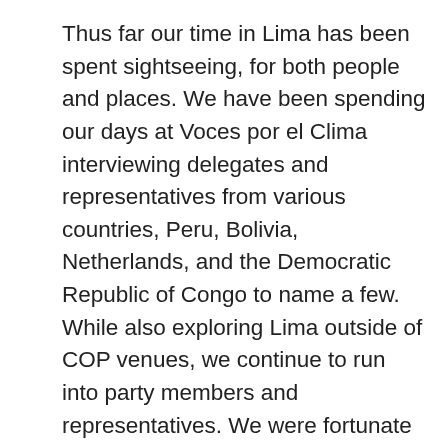Thus far our time in Lima has been spent sightseeing, for both people and places. We have been spending our days at Voces por el Clima interviewing delegates and representatives from various countries, Peru, Bolivia, Netherlands, and the Democratic Republic of Congo to name a few. While also exploring Lima outside of COP venues, we continue to run into party members and representatives. We were fortunate enough to have dinner with Gabriel Blanco a delegate from Argentina who has attended 9 previous COPs. Through a more relaxed interview involving cebiche and cerveza, Señor Blanco held nothing back about Argentina's insufficient climate action. While it was surprising to hear about Argentina's climate denial, it was even more surprising to me that Argentinas government continued to send delegates to a convention in which the argentine people had very little commitment towards. Leaving that dinner was a bit frustrating to hear that despite this being the